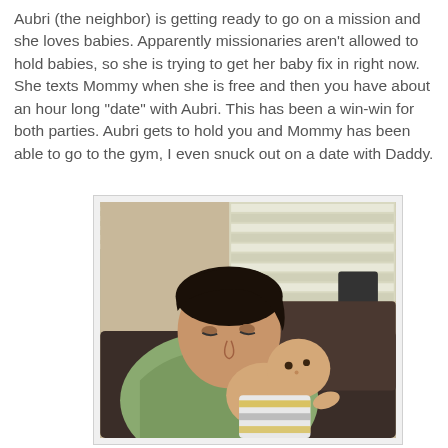Aubri (the neighbor) is getting ready to go on a mission and she loves babies. Apparently missionaries aren't allowed to hold babies, so she is trying to get her baby fix in right now. She texts Mommy when she is free and then you have about an hour long "date" with Aubri. This has been a win-win for both parties. Aubri gets to hold you and Mommy has been able to go to the gym, I even snuck out on a date with Daddy.
[Figure (photo): A man with dark hair wearing a green hoodie sits on a dark brown couch holding a baby in a striped yellow and grey outfit. A window with white horizontal blinds is visible in the background, along with a dark lamp.]